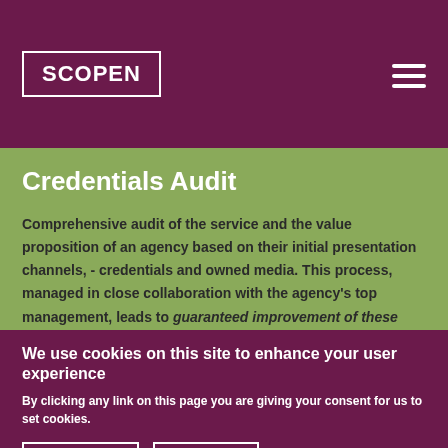SCOPEN
Credentials Audit
Comprehensive audit of the service and the value proposition of an agency based on their initial presentation channels, - credentials and owned media. This process, managed in close collaboration with the agency's top management, leads to guaranteed improvement of these essential new business assets.
We use cookies on this site to enhance your user experience
By clicking any link on this page you are giving your consent for us to set cookies.
OK, I agree
More info
New Business Strategy